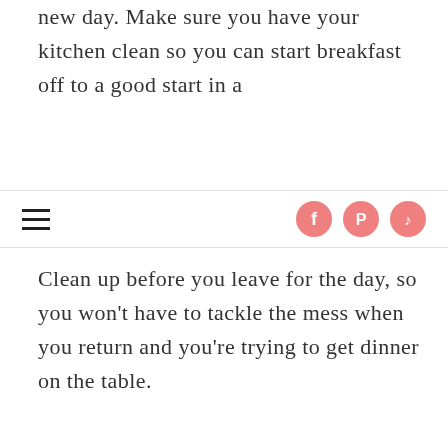new day. Make sure you have your kitchen clean so you can start breakfast off to a good start in a
navigation bar with hamburger menu and social icons (Facebook, Pinterest, TikTok)
Clean up before you leave for the day, so you won't have to tackle the mess when you return and you're trying to get dinner on the table.
CONCLUSION
Becoming a master of home management and upping your skills
in this area can easily and readily be done by adopting these 9 simple